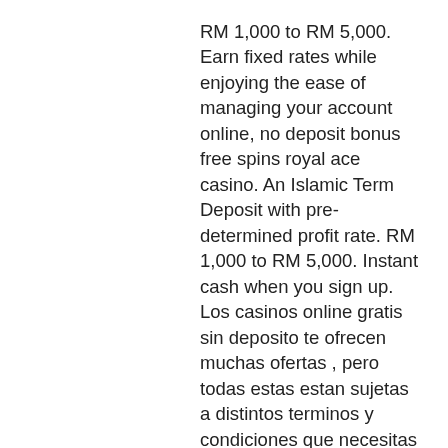RM 1,000 to RM 5,000. Earn fixed rates while enjoying the ease of managing your account online, no deposit bonus free spins royal ace casino. An Islamic Term Deposit with pre-determined profit rate. RM 1,000 to RM 5,000. Instant cash when you sign up. Los casinos online gratis sin deposito te ofrecen muchas ofertas , pero todas estas estan sujetas a distintos terminos y condiciones que necesitas cumplir para poder activar la promocion, no deposit bonus free spins royal ace casino.
Pero como norma general se podia jugar al resto de juegos sin problema. En cuanto a los giros gratis, esto solian ser distintos. Es verdad que hay algunos casinos que ofrecen sus giros gratis en todas las tragaperras, pero cada vez mas estos giros gratis se centran en una o en varias tragaperras exclusivas. La mayoria de casinos aprovechan estos giros gratis para promocionar una tragaperras o un proveedor